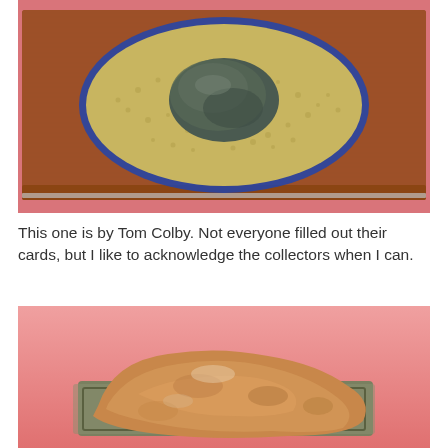[Figure (photo): A dark greenish-gray rock resting in a round bowl filled with small gravel/sand, placed on a rectangular wooden board with a pink background.]
This one is by Tom Colby. Not everyone filled out their cards, but I like to acknowledge the collectors when I can.
[Figure (photo): A brownish-tan rough textured rock displayed on a rectangular gray/olive platform against a pink gradient background.]